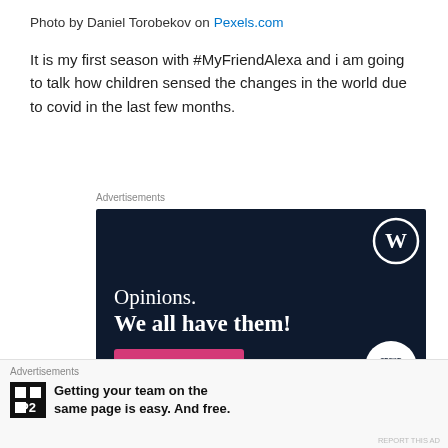Photo by Daniel Torobekov on Pexels.com
It is my first season with #MyFriendAlexa and i am going to talk how children sensed the changes in the world due to covid in the last few months.
Advertisements
[Figure (illustration): WordPress advertisement banner with dark navy background showing WordPress logo (W in circle), text 'Opinions. We all have them!', a pink 'Start a survey' button, and a CrowdSignal logo circle at bottom right.]
Advertisements
[Figure (logo): P2 by WordPress advertisement with black P2 icon logo and text 'Getting your team on the same page is easy. And free.']